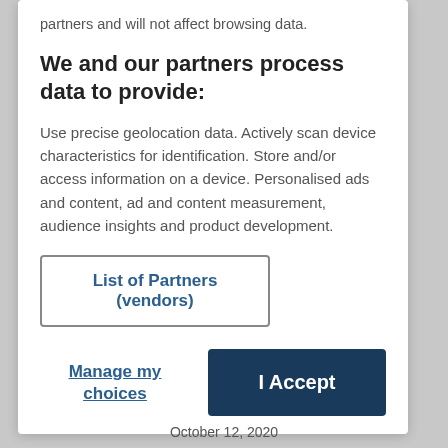partners and will not affect browsing data.
We and our partners process data to provide:
Use precise geolocation data. Actively scan device characteristics for identification. Store and/or access information on a device. Personalised ads and content, ad and content measurement, audience insights and product development.
List of Partners (vendors)
Manage my choices
I Accept
October 12, 2020